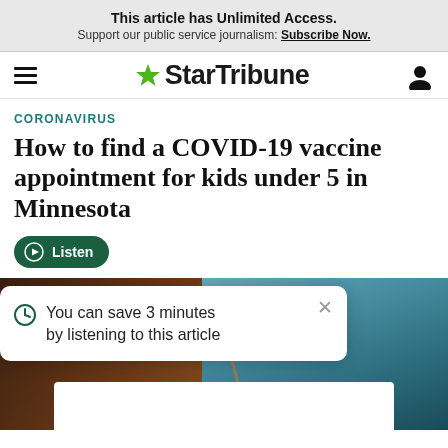This article has Unlimited Access. Support our public service journalism: Subscribe Now.
[Figure (logo): Star Tribune logo with green star and hamburger menu and user icon]
CORONAVIRUS
How to find a COVID-19 vaccine appointment for kids under 5 in Minnesota
[Figure (other): Listen audio button (green pill-shaped button with play icon)]
[Figure (photo): Photograph of a vaccine being administered, with an overlay popup that says 'You can save 3 minutes by listening to this article' and a white advertisement box at the bottom]